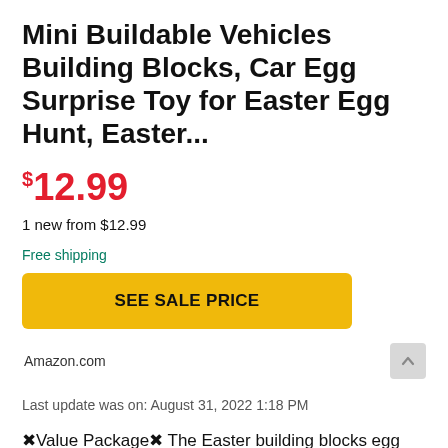Mini Buildable Vehicles Building Blocks, Car Egg Surprise Toy for Easter Egg Hunt, Easter...
$12.99
1 new from $12.99
Free shipping
SEE SALE PRICE
Amazon.com
Last update was on: August 31, 2022 1:18 PM
❖Value Package❖ The Easter building blocks egg set have 12pcs different Easter egg with buildable car